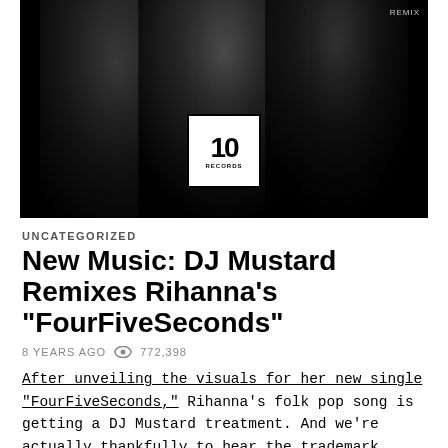[Figure (photo): Black and white photo of three people (likely Rihanna, Kanye West, Paul McCartney) with a dark background. An '10 Records' logo box is centered at the bottom of the image. 'REMIX' text appears at top right.]
UNCATEGORIZED
New Music: DJ Mustard Remixes Rihanna’s “FourFiveSeconds”
8 YEARS AGO  772,398
After unveiling the visuals for her new single "FourFiveSeconds," Rihanna's folk pop song is getting a DJ Mustard treatment. And we're actually thankfully to hear the trademark "Mustard on the beat, hoe!" drop